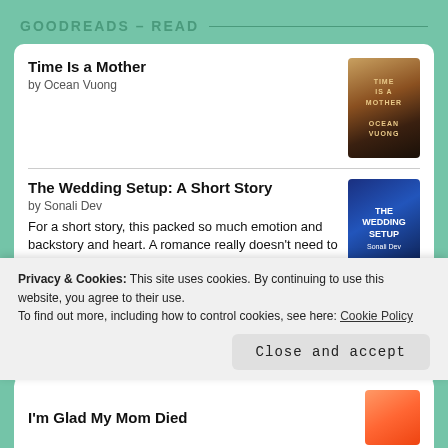GOODREADS – READ
Time Is a Mother by Ocean Vuong
The Wedding Setup: A Short Story by Sonali Dev — For a short story, this packed so much emotion and backstory and heart. A romance really doesn't need to be longer if it gets all these things right.
Critical Role: Vox Machina–Kith & Kin by Marieke Nijkamp — Actual rating: 3.5 Robbie Daymond, Laura Bailey
Privacy & Cookies: This site uses cookies. By continuing to use this website, you agree to their use.
To find out more, including how to control cookies, see here: Cookie Policy
Close and accept
I'm Glad My Mom Died